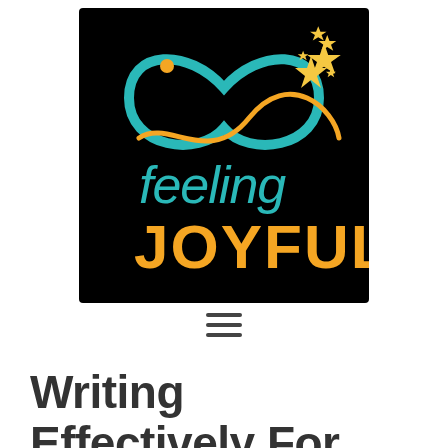[Figure (logo): Feeling Joyful logo: black square background with teal/orange infinity-style swirl design, stars, and text 'feeling' in teal and 'JOYFUL' in orange bold letters]
[Figure (other): Hamburger menu icon with three horizontal lines]
Writing Effectively For Online Readers